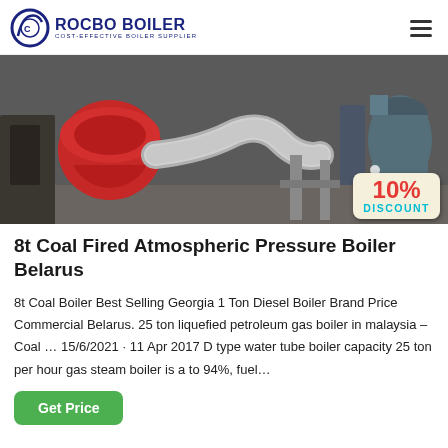ROCBO BOILER — COST-EFFECTIVE BOILER SUPPLIER
[Figure (photo): Industrial boiler equipment photo showing a large red burner unit connected to stainless steel ductwork inside a factory setting, with a 10% DISCOUNT badge overlay in the bottom-right corner.]
8t Coal Fired Atmospheric Pressure Boiler Belarus
8t Coal Boiler Best Selling Georgia 1 Ton Diesel Boiler Brand Price Commercial Belarus. 25 ton liquefied petroleum gas boiler in malaysia – Coal … 15/6/2021 · 11 Apr 2017 D type water tube boiler capacity 25 ton per hour gas steam boiler is a to 94%, fuel…
Get Price